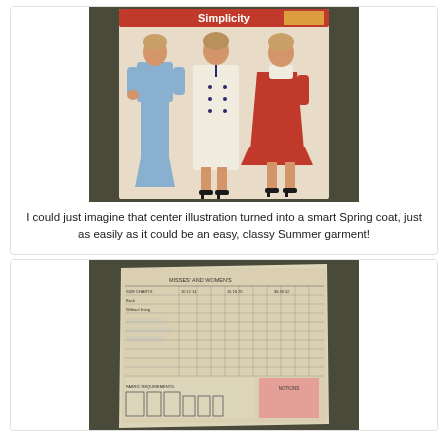[Figure (photo): A vintage Simplicity sewing pattern envelope showing three women in 1970s-style outfits: one in blue wide-leg pants with a short top, one in a white double-breasted dress/coat, and one in a red short dress, photographed on a dark speckled floor.]
I could just imagine that center illustration turned into a smart Spring coat, just as easily as it could be an easy, classy Summer garment!
[Figure (photo): The back of the same vintage Simplicity sewing pattern envelope showing the measurement and yardage chart with fabric requirements for the pattern pieces, photographed on a dark speckled floor.]